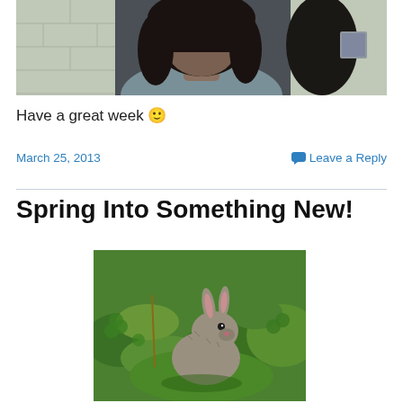[Figure (photo): Photo of a person, partially obscured, taken from webcam in what appears to be an indoor setting with cinder block walls]
Have a great week 🙂
March 25, 2013     💬 Leave a Reply
Spring Into Something New!
[Figure (photo): Photo of a small grey bunny rabbit sitting in green grass and clover, looking upward]